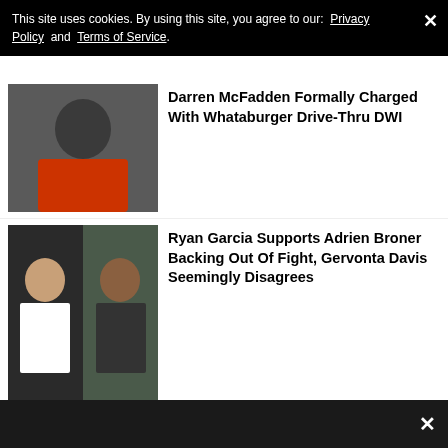This site uses cookies. By using this site, you agree to our: Privacy Policy and Terms of Service.
[Figure (photo): Man in orange shirt headshot]
Darren McFadden Formally Charged With Whataburger Drive-Thru DWI
[Figure (photo): Ryan Garcia and Adrien Broner composite photo]
Ryan Garcia Supports Adrien Broner Backing Out Of Fight, Gervonta Davis Seemingly Disagrees
[Figure (photo): Snoop Dogg with others at event]
Snoop Dogg Trolls Chiefs Fans With Tom Brady And Patrick Mahomes Meme
[Figure (photo): Michael Irvin at NFL event]
Michael Irvin Attempts To Stop Bar